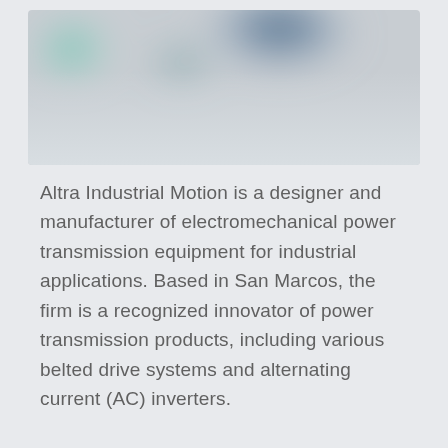[Figure (photo): Blurred abstract image with green and dark blue/teal color patches fading to light grey/white at the bottom, appearing to be a blurred industrial or product photo]
Altra Industrial Motion is a designer and manufacturer of electromechanical power transmission equipment for industrial applications. Based in San Marcos, the firm is a recognized innovator of power transmission products, including various belted drive systems and alternating current (AC) inverters.